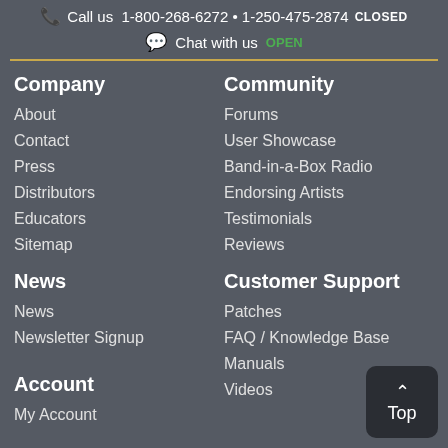Call us  1-800-268-6272 • 1-250-475-2874  CLOSED
Chat with us  OPEN
Company
About
Contact
Press
Distributors
Educators
Sitemap
Community
Forums
User Showcase
Band-in-a-Box Radio
Endorsing Artists
Testimonials
Reviews
News
News
Newsletter Signup
Customer Support
Patches
FAQ / Knowledge Base
Manuals
Videos
Account
My Account
Tutorials